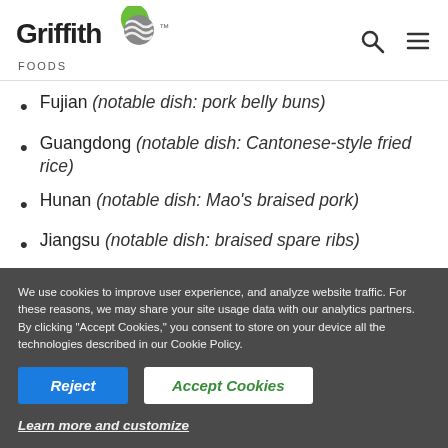[Figure (logo): Griffith Foods logo with green globe icon]
Fujian (notable dish: pork belly buns)
Guangdong (notable dish: Cantonese-style fried rice)
Hunan (notable dish: Mao's braised pork)
Jiangsu (notable dish: braised spare ribs)
Shandong (notable dish: sweet potato with caramelized sugar)
We use cookies to improve user experience, and analyze website traffic. For these reasons, we may share your site usage data with our analytics partners. By clicking "Accept Cookies," you consent to store on your device all the technologies described in our Cookie Policy.
Reject
Accept Cookies
Learn more and customize